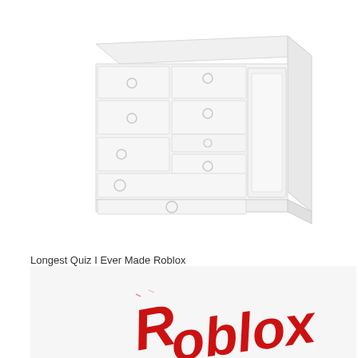[Figure (illustration): A white chest of drawers / dresser with multiple drawers and ring-pull handles, shown in a 3D perspective view against a white background. The image is very lightly rendered in pale gray tones.]
Longest Quiz I Ever Made Roblox
[Figure (illustration): Handwritten red text reading 'Roblox' in a childlike scrawly style, partially cropped at the bottom of the page, against a light gray/white background.]